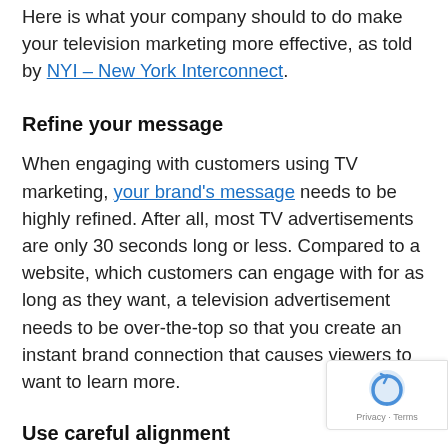Here is what your company should to do make your television marketing more effective, as told by NYI – New York Interconnect.
Refine your message
When engaging with customers using TV marketing, your brand's message needs to be highly refined. After all, most TV advertisements are only 30 seconds long or less. Compared to a website, which customers can engage with for as long as they want, a television advertisement needs to be over-the-top so that you create an instant brand connection that causes viewers to want to learn more.
Use careful alignment
To maximise the advertisements that you run, it's vital to make sure that the ads you place are properly aligned with the programs that are being shown. Giv the complicated details of market demographics, a company like NYI – New York Interconnect can be